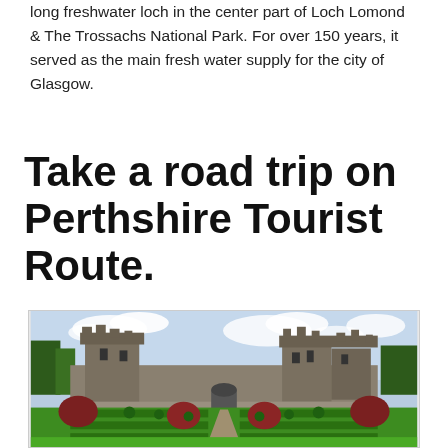long freshwater loch in the center part of Loch Lomond & The Trossachs National Park. For over 150 years, it served as the main fresh water supply for the city of Glasgow.
Take a road trip on Perthshire Tourist Route.
[Figure (photo): Photograph of a Scottish castle with formal ornamental gardens in the foreground featuring topiary, hedgerows, and a central pathway leading to the castle. Red-leafed trees line the sides. Overcast sky above.]